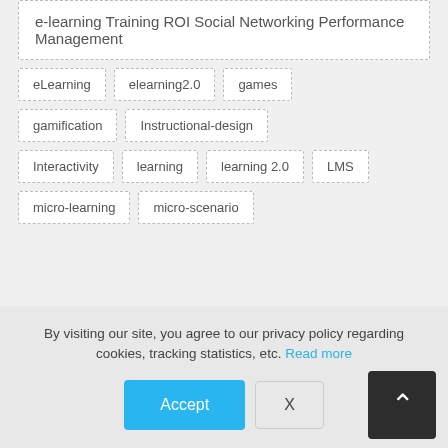e-learning Training ROI Social Networking Performance Management
eLearning
elearning2.0
games
gamification
Instructional-design
Interactivity
learning
learning 2.0
LMS
micro-learning
micro-scenario
By visiting our site, you agree to our privacy policy regarding cookies, tracking statistics, etc. Read more